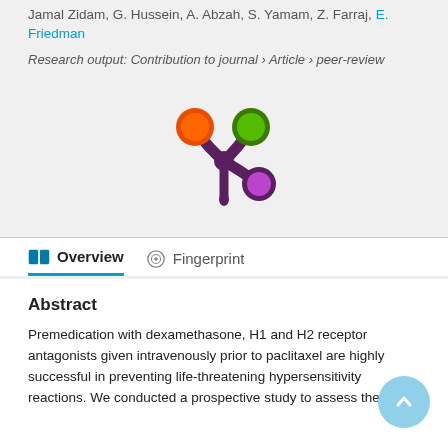Jamal Zidam, G. Hussein, A. Abzah, S. Yamam, Z. Farraj, E. Friedman
Research output: Contribution to journal › Article › peer-review
[Figure (logo): Stylized logo with colored circles (orange, green, purple) connected by dark purple stems forming a flower/asterisk shape]
Overview
Fingerprint
Abstract
Premedication with dexamethasone, H1 and H2 receptor antagonists given intravenously prior to paclitaxel are highly successful in preventing life-threatening hypersensitivity reactions. We conducted a prospective study to assess the